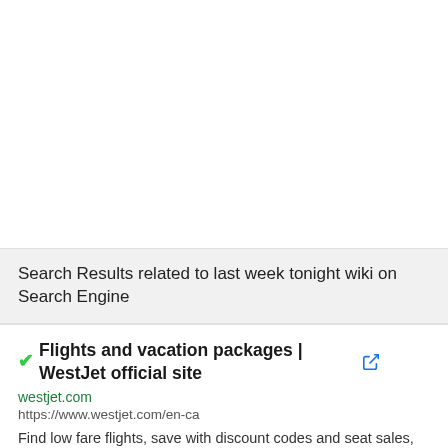Search Results related to last week tonight wiki on Search Engine
Flights and vacation packages | WestJet official site
westjet.com
https://www.westjet.com/en-ca
Find low fare flights, save with discount codes and seat sales, discover travel and destination information, manage